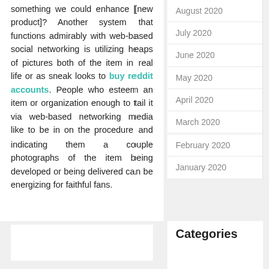something we could enhance [new product]? Another system that functions admirably with web-based social networking is utilizing heaps of pictures both of the item in real life or as sneak looks to buy reddit accounts. People who esteem an item or organization enough to tail it via web-based networking media like to be in on the procedure and indicating them a couple photographs of the item being developed or being delivered can be energizing for faithful fans.
August 2020
July 2020
June 2020
May 2020
April 2020
March 2020
February 2020
January 2020
Categories